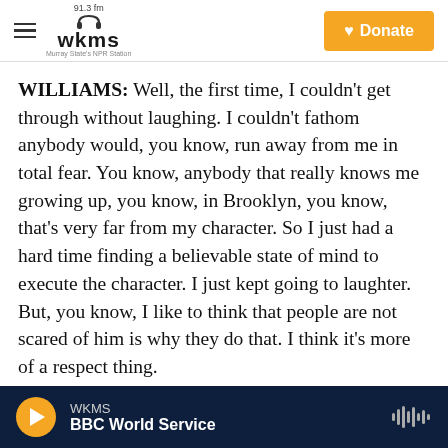WKMS 91.3 fm — Murray State's NPR Station | Donate
WILLIAMS: Well, the first time, I couldn't get through without laughing. I couldn't fathom anybody would, you know, run away from me in total fear. You know, anybody that really knows me growing up, you know, in Brooklyn, you know, that's very far from my character. So I just had a hard time finding a believable state of mind to execute the character. I just kept going to laughter. But, you know, I like to think that people are not scared of him is why they do that. I think it's more of a respect thing.
Like, they know that when this dude surfaces
WKMS — BBC World Service